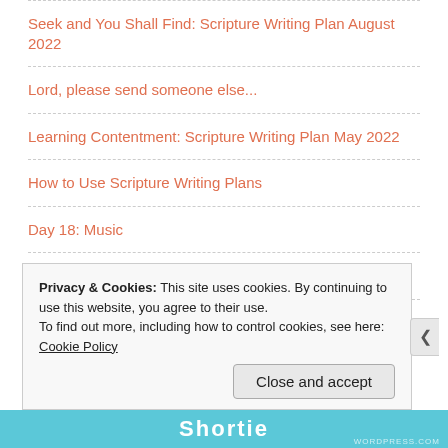Seek and You Shall Find: Scripture Writing Plan August 2022
Lord, please send someone else...
Learning Contentment: Scripture Writing Plan May 2022
How to Use Scripture Writing Plans
Day 18: Music
February Scripture Writing Plan: The Love of the Lord
Set Your Mind: Scripture Writing Plan for January 2020
Privacy & Cookies: This site uses cookies. By continuing to use this website, you agree to their use.
To find out more, including how to control cookies, see here: Cookie Policy
Close and accept